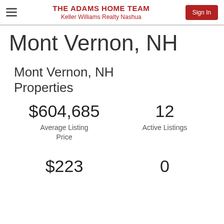THE ADAMS HOME TEAM
Keller Williams Realty Nashua
Mont Vernon, NH
Mont Vernon, NH Properties
$604,685
Average Listing Price
12
Active Listings
$223
0